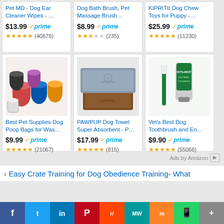[Figure (screenshot): Amazon product grid - top row partial view showing 3 products with prices and star ratings]
Pet MD - Dog Ear Cleaner Wipes - ... $13.99 prime ★★★★½ (40876)
Dog Bath Brush, Pet Massage Brush... $8.99 prime ★★★☆☆ (235)
KIPRITII Dog Chew Toys for Puppy -... $25.99 prime ★★★★½ (11230)
[Figure (photo): Best Pet Supplies Dog Poop Bags - colorful rolls of bags with dispenser]
Best Pet Supplies Dog Poop Bags for Was... $9.99 prime ★★★★★ (21067)
[Figure (photo): PAWPUP Dog Towel - grey and brown microfiber towels]
PAWPUP Dog Towel Super Absorbent - P... $17.99 prime ★★★★★ (815)
[Figure (photo): Vet's Best Dog Toothbrush and Enzymatic Toothpaste]
Vet's Best Dog Toothbrush and En... $9.90 prime ★★★★½ (55066)
Ads by Amazon ▷
‹ Easy Crate Training for Dog Obedience Training- What
f  Twitter  in  P  Reddit  MW  Mix  WhatsApp  More